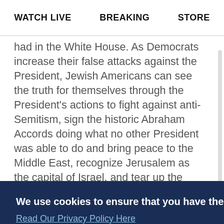WATCH LIVE   BREAKING   STORE
had in the White House. As Democrats increase their false attacks against the President, Jewish Americans can see the truth for themselves through the President's actions to fight against anti-Semitism, sign the historic Abraham Accords doing what no other President was able to do and bring peace to the Middle East, recognize Jerusalem as the capital of Israel, and tear up the disastrous Iran nuclear deal from the Obama-Biden administration.
We use cookies to ensure that you have the best experience possible on our website. Read Our Privacy Policy Here
Got it!